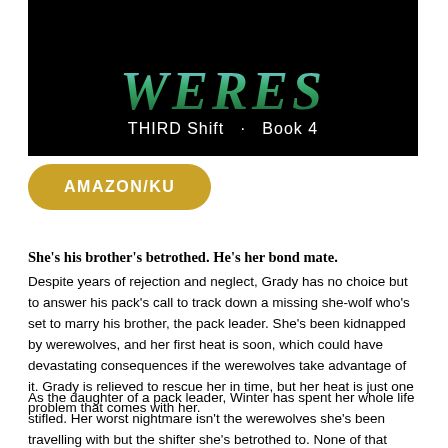[Figure (illustration): Book cover image showing the title 'WERES' in large green stylized text on a black background, with subtitle 'THIRD Shift · Book 4' in white text below]
AMAZON/KU
She's his brother's betrothed. He's her bond mate.
Despite years of rejection and neglect, Grady has no choice but to answer his pack's call to track down a missing she-wolf who's set to marry his brother, the pack leader. She's been kidnapped by werewolves, and her first heat is soon, which could have devastating consequences if the werewolves take advantage of it. Grady is relieved to rescue her in time, but her heat is just one problem that comes with her.
As the daughter of a pack leader, Winter has spent her whole life stifled. Her worst nightmare isn't the werewolves she's been travelling with but the shifter she's betrothed to. None of that matters when Grady walks into her bedroom, though, because she knows